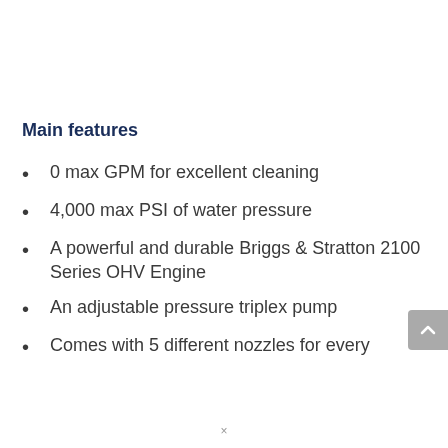Main features
0 max GPM for excellent cleaning
4,000 max PSI of water pressure
A powerful and durable Briggs & Stratton 2100 Series OHV Engine
An adjustable pressure triplex pump
Comes with 5 different nozzles for every